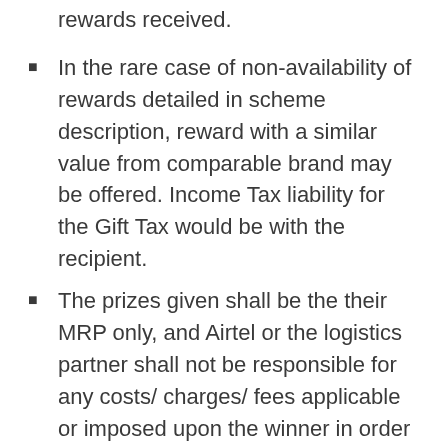rewards received.
In the rare case of non-availability of rewards detailed in scheme description, reward with a similar value from comparable brand may be offered. Income Tax liability for the Gift Tax would be with the recipient.
The prizes given shall be the their MRP only, and Airtel or the logistics partner shall not be responsible for any costs/ charges/ fees applicable or imposed upon the winner in order to use the prizes.
These terms and conditions shall constitute an agreement between Airtel and each individual participant / winners of the Contest, and these terms shall be binding